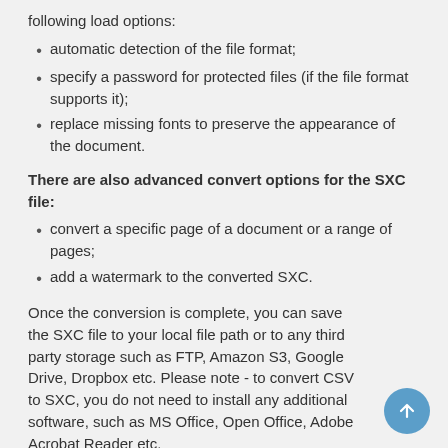following load options:
automatic detection of the file format;
specify a password for protected files (if the file format supports it);
replace missing fonts to preserve the appearance of the document.
There are also advanced convert options for the SXC file:
convert a specific page of a document or a range of pages;
add a watermark to the converted SXC.
Once the conversion is complete, you can save the SXC file to your local file path or to any third party storage such as FTP, Amazon S3, Google Drive, Dropbox etc. Please note - to convert CSV to SXC, you do not need to install any additional software, such as MS Office, Open Office, Adobe Acrobat Reader etc.